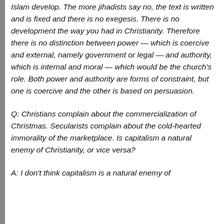Islam develop. The more jihadists say no, the text is written and is fixed and there is no exegesis. There is no development the way you had in Christianity. Therefore there is no distinction between power — which is coercive and external, namely government or legal — and authority, which is internal and moral — which would be the church's role. Both power and authority are forms of constraint, but one is coercive and the other is based on persuasion.
Q: Christians complain about the commercialization of Christmas. Secularists complain about the cold-hearted immorality of the marketplace. Is capitalism a natural enemy of Christianity, or vice versa?
A: I don't think capitalism is a natural enemy of